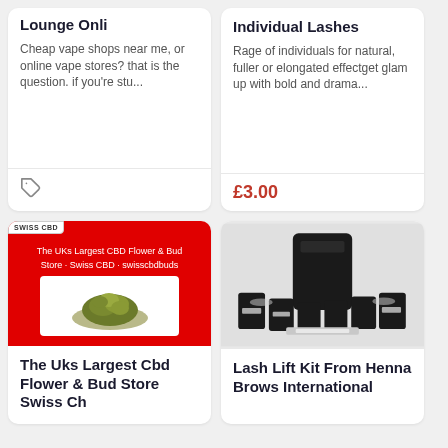Lounge Onli
Cheap vape shops near me, or online vape stores? that is the question. if you're stu...
[Figure (other): Tag/price icon with no price listed]
Individual Lashes
Rage of individuals for natural, fuller or elongated effectget glam up with bold and drama...
£3.00
[Figure (photo): Swiss CBD product image on red background showing herb pile with white box and SWISS CBD badge, text: The UKs Largest CBD Flower & Bud Store Swiss CBD swisscbdbuds]
The Uks Largest Cbd Flower & Bud Store Swiss Ch
[Figure (photo): Lash lift kit from Henna Brows International showing black product packages arranged on light background]
Lash Lift Kit From Henna Brows International